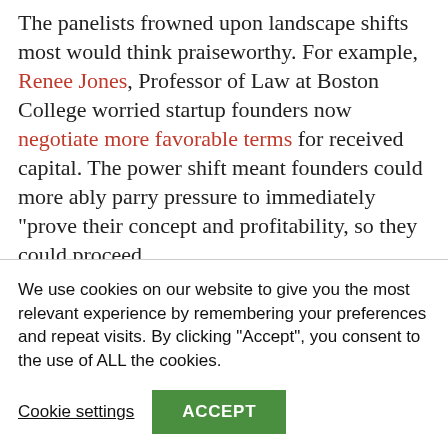The panelists frowned upon landscape shifts most would think praiseworthy. For example, Renee Jones, Professor of Law at Boston College worried startup founders now negotiate more favorable terms for received capital. The power shift meant founders could more ably parry pressure to immediately “prove their concept and profitability, so they could proceed
We use cookies on our website to give you the most relevant experience by remembering your preferences and repeat visits. By clicking “Accept”, you consent to the use of ALL the cookies.
Cookie settings
ACCEPT